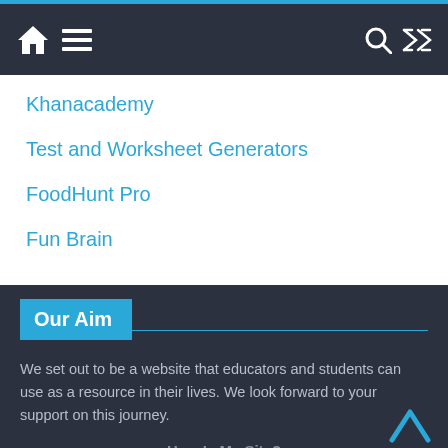Navigation bar with home, menu, search, and shuffle icons
Khanacademy
Test and Worksheet Generators
FoodHunt Pro
Fun Brain
Our Aim
We set out to be a website that educators and students can use as a resource in their lives. We look forward to your support on this journey.
How Is My Site?